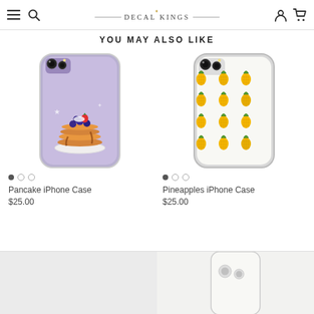DECAL KINGS — navigation header with hamburger, search, account, and cart icons
YOU MAY ALSO LIKE
[Figure (photo): Pancake iPhone Case product photo — purple phone case with illustrated pancake stack with blueberries and strawberries]
Pancake iPhone Case
$25.00
[Figure (photo): Pineapples iPhone Case product photo — clear phone case with illustrated pineapple pattern]
Pineapples iPhone Case
$25.00
[Figure (photo): Bottom left partially visible product — light gray phone case, content cropped]
[Figure (photo): Bottom right partially visible product — white/cream phone case with camera cutout visible, content cropped]